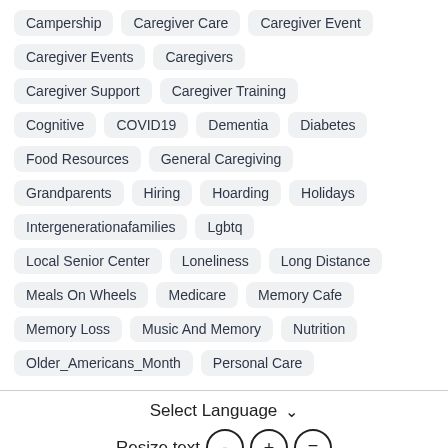Campership
Caregiver Care
Caregiver Event
Caregiver Events
Caregivers
Caregiver Support
Caregiver Training
Cognitive
COVID19
Dementia
Diabetes
Food Resources
General Caregiving
Grandparents
Hiring
Hoarding
Holidays
Intergenerationafamilies
Lgbtq
Local Senior Center
Loneliness
Long Distance
Meals On Wheels
Medicare
Memory Cafe
Memory Loss
Music And Memory
Nutrition
Older_Americans_Month
Personal Care
Select Language  Resize text - + =